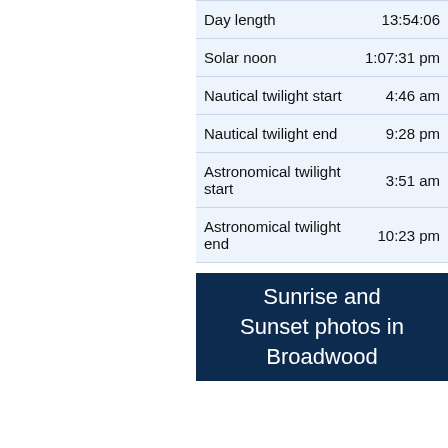|  |  |
| --- | --- |
| Day length | 13:54:06 |
| Solar noon | 1:07:31 pm |
| Nautical twilight start | 4:46 am |
| Nautical twilight end | 9:28 pm |
| Astronomical twilight start | 3:51 am |
| Astronomical twilight end | 10:23 pm |
[Figure (other): Dark navy blue promotional banner with white text reading 'Sunrise and Sunset photos in Broadwood' (partially visible)]